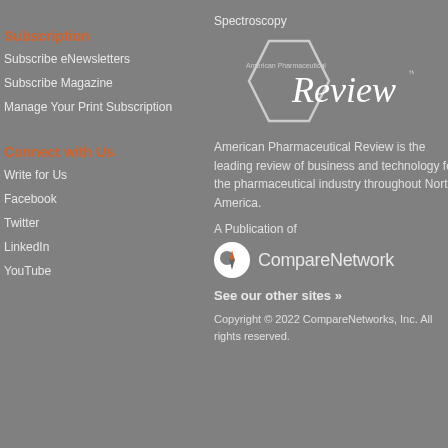Spectroscopy
Subscription
Subscribe eNewsletters
Subscribe Magazine
Manage Your Print Subscription
Connect with Us
Write for Us
Facebook
Twitter
LinkedIn
YouTube
[Figure (logo): American Pharmaceutical Review logo — hexagon shape with text 'American Pharmaceutical Review' inside]
American Pharmaceutical Review is the leading review of business and technology for the pharmaceutical industry throughout North America.
A Publication of
[Figure (logo): CompareNetwork logo — circular icon with compass needle and text 'CompareNetwork']
See our other sites »
Copyright © 2022 CompareNetworks, Inc. All rights reserved.